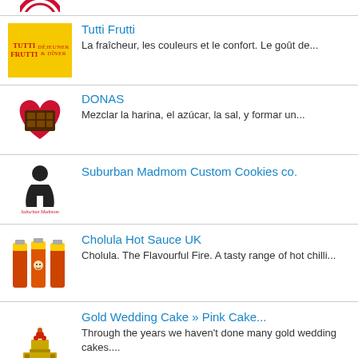Tutti Frutti — La fraîcheur, les couleurs et le confort. Le goût de...
DONAS — Mezclar la harina, el azúcar, la sal, y formar un...
Suburban Madmom Custom Cookies co.
Cholula Hot Sauce UK — Cholula. The Flavourful Fire. A tasty range of hot chilli...
Gold Wedding Cake » Pink Cake... — Through the years we haven't done many gold wedding cakes....
Caffrey & Oakland